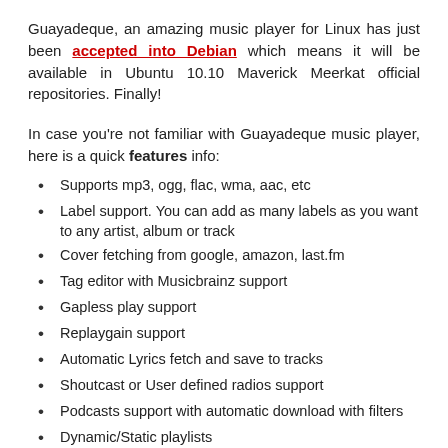Guayadeque, an amazing music player for Linux has just been accepted into Debian which means it will be available in Ubuntu 10.10 Maverick Meerkat official repositories. Finally!
In case you're not familiar with Guayadeque music player, here is a quick features info:
Supports mp3, ogg, flac, wma, aac, etc
Label support. You can add as many labels as you want to any artist, album or track
Cover fetching from google, amazon, last.fm
Tag editor with Musicbrainz support
Gapless play support
Replaygain support
Automatic Lyrics fetch and save to tracks
Shoutcast or User defined radios support
Podcasts support with automatic download with filters
Dynamic/Static playlists